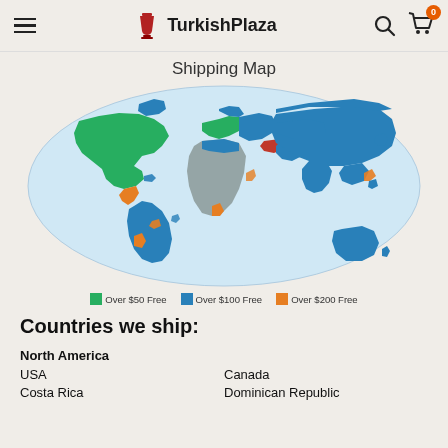TurkishPlaza
Shipping Map
[Figure (map): World shipping map with countries colored by free shipping threshold: Green = Over $50 Free (USA, Canada, parts of Europe), Blue = Over $100 Free (most of Europe, Asia, South America, Australia), Orange = Over $200 Free (select countries in Central/South America, Africa, Southeast Asia). Gray = not served. Legend shows three tiers.]
Countries we ship:
North America
USA	Canada
Costa Rica	Dominican Republic